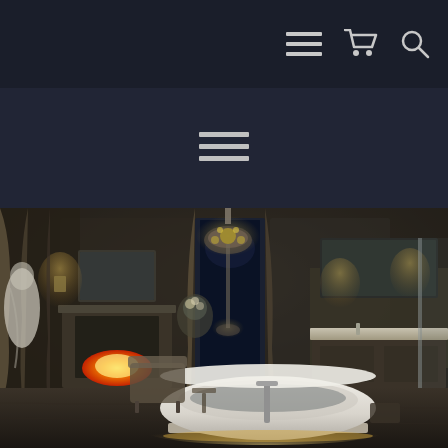Navigation bar with menu, cart, and search icons
[Figure (illustration): Hamburger menu icon (three horizontal lines) centered in a dark navy band below the top navigation]
[Figure (photo): Luxury bathroom interior at night with a freestanding illuminated oval bathtub in the center, ornate chandelier above, fireplace on the left with a figure in a white robe, large mirror and vanity in the background, and a glass shower enclosure on the right. Warm ambient lighting throughout.]